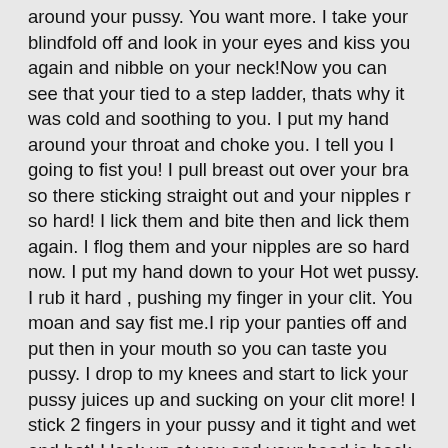around your pussy. You want more. I take your blindfold off and look in your eyes and kiss you again and nibble on your neck!Now you can see that your tied to a step ladder, thats why it was cold and soothing to you. I put my hand around your throat and choke you. I tell you I going to fist you! I pull breast out over your bra so there sticking straight out and your nipples r so hard! I lick them and bite then and lick them again. I flog them and your nipples are so hard now. I put my hand down to your Hot wet pussy. I rub it hard , pushing my finger in your clit. You moan and say fist me.I rip your panties off and put then in your mouth so you can taste you pussy. I drop to my knees and start to lick your pussy juices up and sucking on your clit more! I stick 2 fingers in your pussy and it tight and wet and hot! I look up at you and your head is back from the pleasure.Then you look me in the eyes and smile. I tell you that your pussy is tight an Im going to stretch it out for you . I lick your clit again